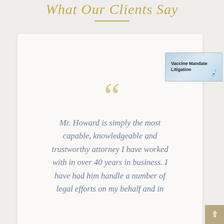What Our Clients Say
Mr. Howard is simply the most capable, knowledgeable and trustworthy attorney I have worked with in over 40 years in business. I have had him handle a number of legal efforts on my behalf and in
[Figure (photo): Vaccine Mandate Litigation - photo showing a syringe/vaccine]